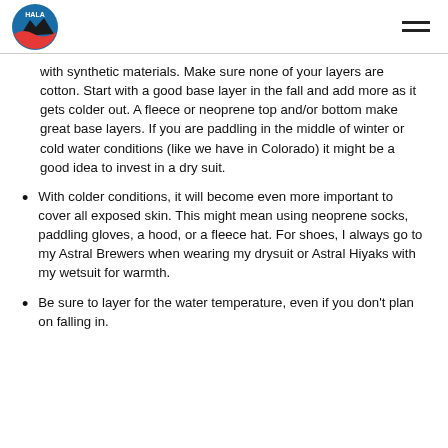HALA logo and navigation
with synthetic materials. Make sure none of your layers are cotton. Start with a good base layer in the fall and add more as it gets colder out. A fleece or neoprene top and/or bottom make great base layers. If you are paddling in the middle of winter or cold water conditions (like we have in Colorado) it might be a good idea to invest in a dry suit.
With colder conditions, it will become even more important to cover all exposed skin. This might mean using neoprene socks, paddling gloves, a hood, or a fleece hat. For shoes, I always go to my Astral Brewers when wearing my drysuit or Astral Hiyaks with my wetsuit for warmth.
Be sure to layer for the water temperature, even if you don't plan on falling in.